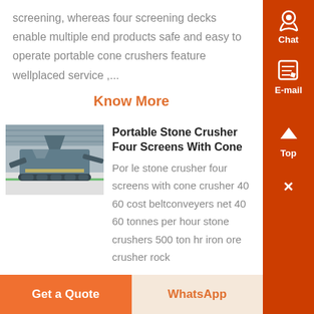screening, whereas four screening decks enable multiple end products safe and easy to operate portable cone crushers feature wellplaced service ,...
Know More
[Figure (photo): Photo of a portable stone crusher machine in an industrial warehouse setting, with tracked chassis and green floor markings.]
Portable Stone Crusher Four Screens With Cone
Por le stone crusher four screens with cone crusher 40 60 cost beltconveyers net 40 60 tonnes per hour stone crushers 500 ton hr iron ore crusher rock